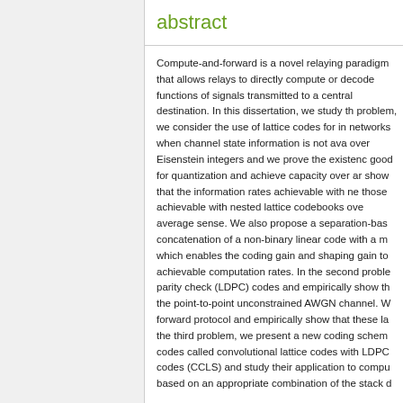abstract
Compute-and-forward is a novel relaying paradigm that allows relays to directly compute or decode functions of signals transmitted to a central destination. In this dissertation, we study three problems. First problem, we consider the use of lattice codes for interference networks when channel state information is not available. We use lattices over Eisenstein integers and we prove the existence of lattice codes good for quantization and achieve capacity over an average sense. We show that the information rates achievable with nested lattice codebooks over Eisenstein integers are at least as good as those achievable with nested lattice codebooks over Gaussian integers in an average sense. We also propose a separation-based coding scheme using concatenation of a non-binary linear code with a multi-dimensional shaping lattice which enables the coding gain and shaping gain to be optimized to achieve achievable computation rates. In the second problem, we design low-density parity check (LDPC) codes and empirically show that these codes can achieve the point-to-point unconstrained AWGN channel. We then apply the compute-and-forward protocol and empirically show that these lattice codes perform well. In the third problem, we present a new coding scheme that combines convolutional codes called convolutional lattice codes with LDPC shaping lattice codes (CCLS) and study their application to compute-and-forward based on an appropriate combination of the stack decoder and belief propagation decoding algorithm.